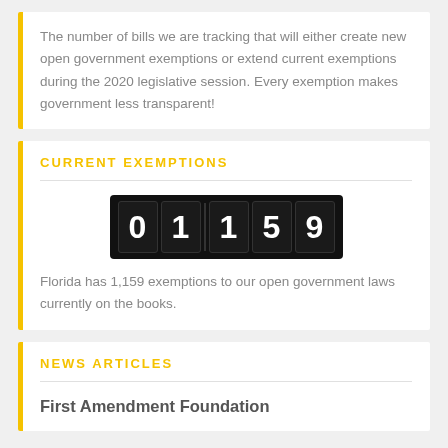The number of bills we are tracking that will either create new open government exemptions or extend current exemptions during the 2020 legislative session. Every exemption makes government less transparent!
CURRENT EXEMPTIONS
[Figure (other): Odometer-style counter displaying 01159]
Florida has 1,159 exemptions to our open government laws currently on the books.
NEWS ARTICLES
First Amendment Foundation